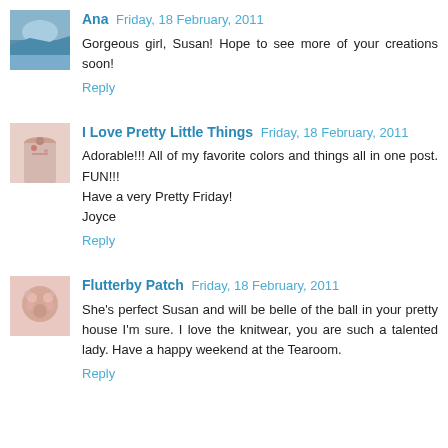Ana Friday, 18 February, 2011
Gorgeous girl, Susan! Hope to see more of your creations soon!
Reply
I Love Pretty Little Things Friday, 18 February, 2011
Adorable!!! All of my favorite colors and things all in one post. FUN!!!
Have a very Pretty Friday!
Joyce
Reply
Flutterby Patch Friday, 18 February, 2011
She's perfect Susan and will be belle of the ball in your pretty house I'm sure. I love the knitwear, you are such a talented lady. Have a happy weekend at the Tearoom.
Reply